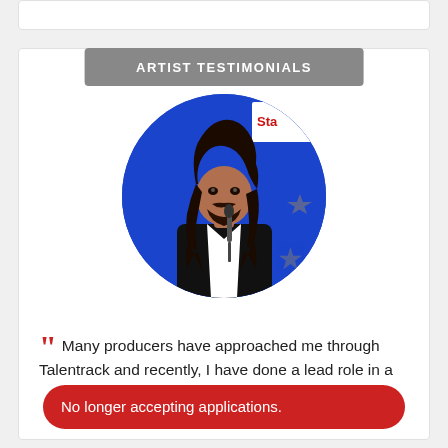ARTIST TESTIMONIALS
[Figure (photo): Circular portrait photo of a young man with long curly dark hair and beard, wearing a black blazer over white shirt, speaking into a microphone, with a blue Star sports backdrop behind him]
“Many producers have approached me through Talentrack and recently, I have done a lead role in a
No longer accepting applications.